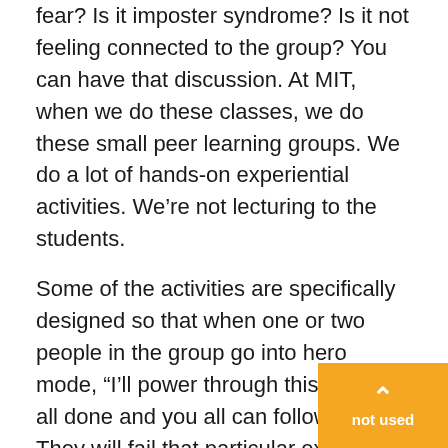fear? Is it imposter syndrome? Is it not feeling connected to the group? You can have that discussion. At MIT, when we do these classes, we do these small peer learning groups. We do a lot of hands-on experiential activities. We're not lecturing to the students.
Some of the activities are specifically designed so that when one or two people in the group go into hero mode, “I’ll power through this, I’ll get it all done and you all can follow along.” They will fail that particular exercise because it involves having each person on the team engage in the activity, and they fail miserably. That’s part of the goal because particularly how we teach at this MIT program, we like getting that failure. These students are not used